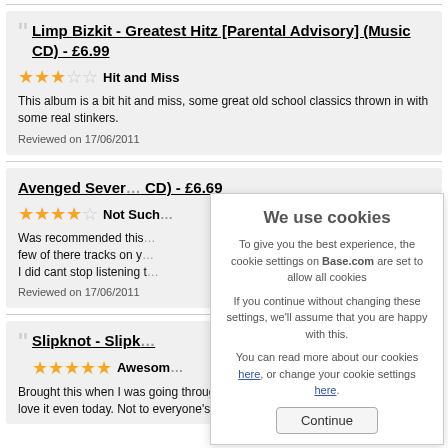Limp Bizkit - Greatest Hitz [Parental Advisory] (Music CD) - £6.99
★★★☆☆ Hit and Miss
This album is a bit hit and miss, some great old school classics thrown in with some real stinkers.
Reviewed on 17/06/2011
Avenged Sever... CD) - £6.69
★★★★☆ Not Such...
Was recommended this... few of there tracks on y... I did cant stop listening t...
Reviewed on 17/06/2011
Slipknot - Slipk...
★★★★★ Awesom...
Brought this when I was going through my heavy metal stage at school, still love it even today. Not to everyone's tastes though!
We use cookies
To give you the best experience, the cookie settings on Base.com are set to allow all cookies
If you continue without changing these settings, we'll assume that you are happy with this.
You can read more about our cookies here, or change your cookie settings here.
Continue